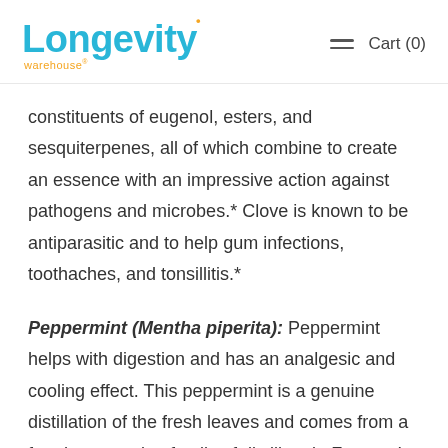Longevity warehouse® Cart (0)
constituents of eugenol, esters, and sesquiterpenes, all of which combine to create an essence with an impressive action against pathogens and microbes.* Clove is known to be antiparasitic and to help gum infections, toothaches, and tonsillitis.*
Peppermint (Mentha piperita): Peppermint helps with digestion and has an analgesic and cooling effect. This peppermint is a genuine distillation of the fresh leaves and comes from a fourth-generation family of distillers in France. It is